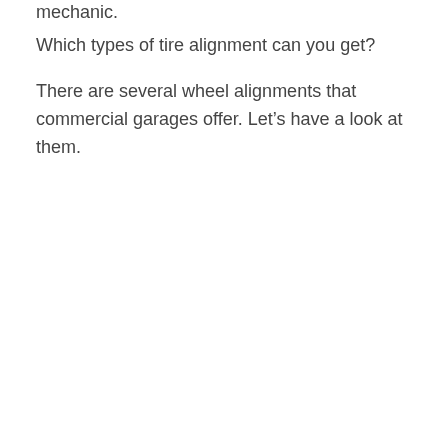mechanic.
Which types of tire alignment can you get?
There are several wheel alignments that commercial garages offer. Let’s have a look at them.